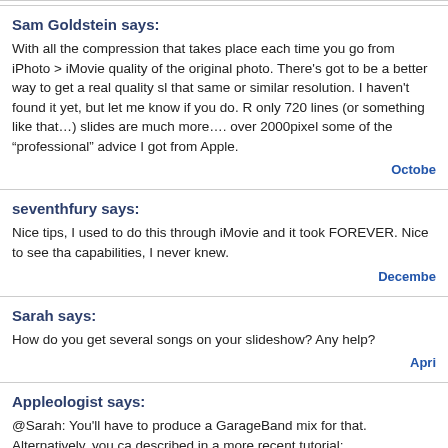Sam Goldstein says:
With all the compression that takes place each time you go from iPhoto > iMovie quality of the original photo. There's got to be a better way to get a real quality sl that same or similar resolution. I haven't found it yet, but let me know if you do. R only 720 lines (or something like that…) slides are much more…. over 2000pixel some of the “professional” advice I got from Apple.
Octobe
seventhfury says:
Nice tips, I used to do this through iMovie and it took FOREVER. Nice to see tha capabilities, I never knew.
Decembe
Sarah says:
How do you get several songs on your slideshow? Any help?
Apri
Appleologist says:
@Sarah: You'll have to produce a GarageBand mix for that. Alternatively, you ca described in a more recent tutorial: